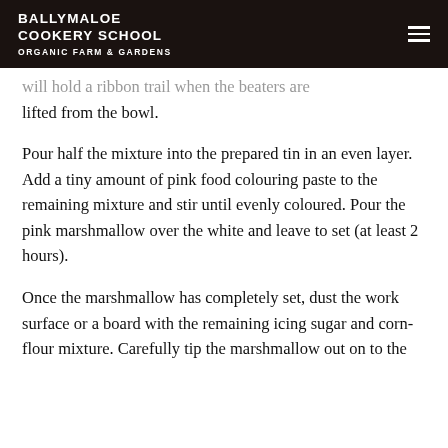BALLYMALOE COOKERY SCHOOL ORGANIC FARM & GARDENS
will hold a ribbon trail when the beaters are lifted from the bowl.
Pour half the mixture into the prepared tin in an even layer. Add a tiny amount of pink food colouring paste to the remaining mixture and stir until evenly coloured. Pour the pink marshmallow over the white and leave to set (at least 2 hours).
Once the marshmallow has completely set, dust the work surface or a board with the remaining icing sugar and corn-flour mixture. Carefully tip the marshmallow out on to the